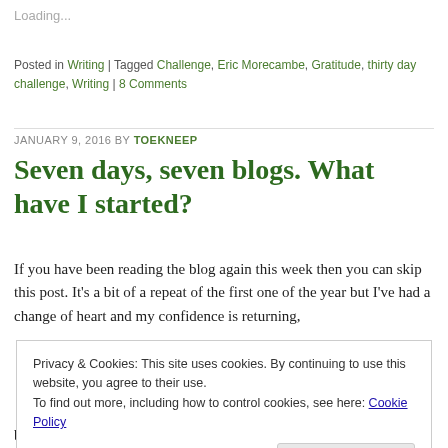Loading...
Posted in Writing | Tagged Challenge, Eric Morecambe, Gratitude, thirty day challenge, Writing | 8 Comments
JANUARY 9, 2016 BY TOEKNEEP
Seven days, seven blogs. What have I started?
If you have been reading the blog again this week then you can skip this post. It’s a bit of a repeat of the first one of the year but I’ve had a change of heart and my confidence is returning,
Privacy & Cookies: This site uses cookies. By continuing to use this website, you agree to their use. To find out more, including how to control cookies, see here: Cookie Policy
Close and accept
bit of a challenge and try and get back into the swing of it. I